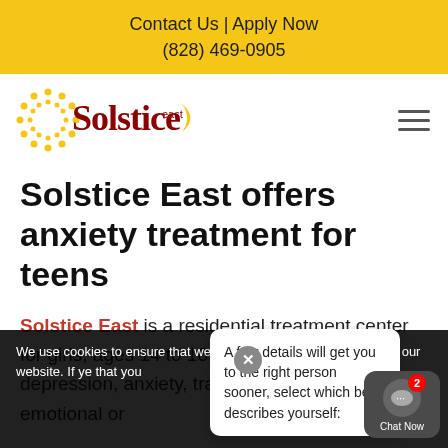Contact Us | Apply Now
(828) 469-0905
[Figure (logo): Solstice East logo with sun and moon imagery, text reads 'Solstice east']
Solstice East offers anxiety treatment for teens
Solstice East is a residential treatment center for girls, ages 14 to 18, grappling with depression, anxiety, trauma, and other emotional or behavioral problems...
We use cookies to ensure that we give you the best experience on our website. If y... e that you
A few details will get you to the right person sooner, select which best describes yourself: